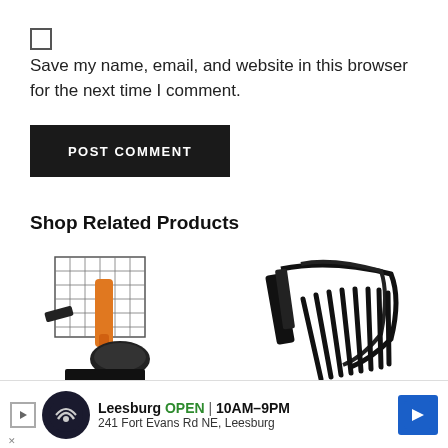Save my name, email, and website in this browser for the next time I comment.
POST COMMENT
Shop Related Products
[Figure (photo): Titan Attachments 12" Rotating attachment product photo on white background]
Titan Attachments 12" Rotating
[Figure (photo): Titan Attachments Skid Steer rake attachment product photo on white background]
Titan Attachments Skid Steer
[Figure (other): Leesburg advertisement banner: OPEN 10AM-9PM, 241 Fort Evans Rd NE, Leesburg]